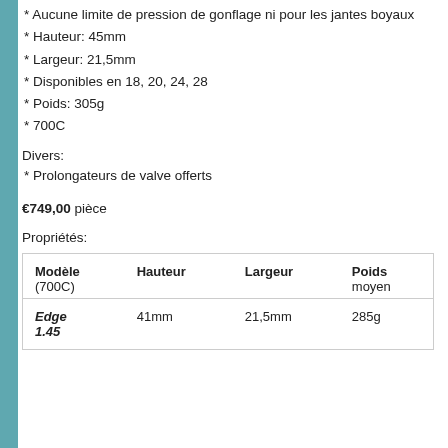* Aucune limite de pression de gonflage ni pour les jantes boyaux
* Hauteur: 45mm
* Largeur: 21,5mm
* Disponibles en 18, 20, 24, 28
* Poids: 305g
* 700C
Divers:
* Prolongateurs de valve offerts
€749,00 pièce
Propriétés:
| Modèle (700C) | Hauteur | Largeur | Poids moyen |
| --- | --- | --- | --- |
| Edge 1.45 | 41mm | 21,5mm | 285g |